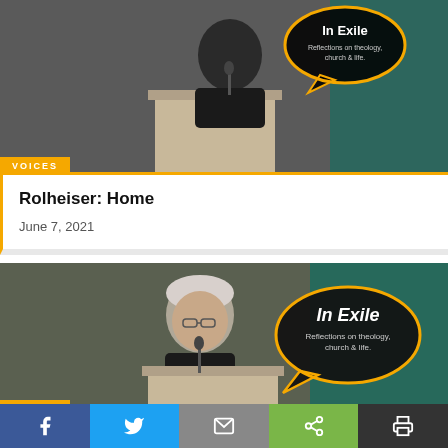[Figure (photo): A man speaking at a podium with an 'In Exile – Reflections on theology, church & life' speech bubble overlay and a VOICES badge at the bottom left.]
Rolheiser: Home
June 7, 2021
[Figure (photo): An older man with glasses smiling at a podium, with a dark speech bubble reading 'In Exile – Reflections on theology, church & life' and a VOICES badge at the bottom left.]
Rolheiser: Losing the song in the singer
f  [Twitter bird]  [envelope]  [share]  [printer]